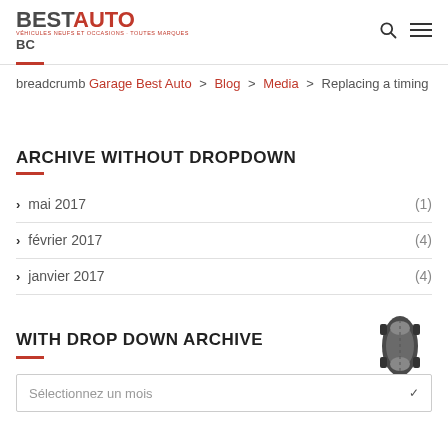BEST AUTO — VÉHICULES NEUFS ET OCCASIONS · TOUTES MARQUES — BC
breadcrumb Garage Best Auto > Blog > Media > Replacing a timing
ARCHIVE WITHOUT DROPDOWN
mai 2017 (1)
février 2017 (4)
janvier 2017 (4)
[Figure (photo): Top-down view of a dark car]
WITH DROP DOWN ARCHIVE
Sélectionnez un mois